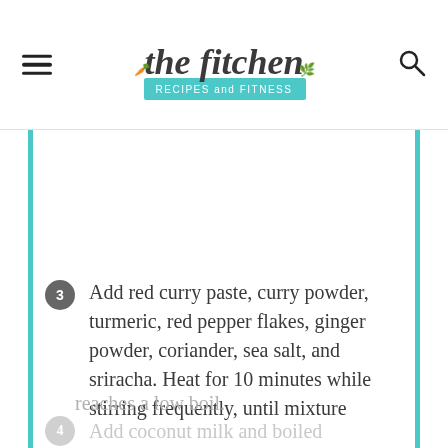the fitchen — RECIPES and FITNESS
3 Add red curry paste, curry powder, turmeric, red pepper flakes, ginger powder, coriander, sea salt, and sriracha. Heat for 10 minutes while stirring frequently, until mixture reaches a low boil.